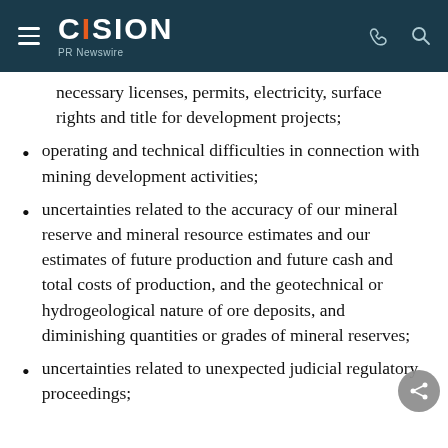CISION PR Newswire
necessary licenses, permits, electricity, surface rights and title for development projects;
operating and technical difficulties in connection with mining development activities;
uncertainties related to the accuracy of our mineral reserve and mineral resource estimates and our estimates of future production and future cash and total costs of production, and the geotechnical or hydrogeological nature of ore deposits, and diminishing quantities or grades of mineral reserves;
uncertainties related to unexpected judicial regulatory proceedings;